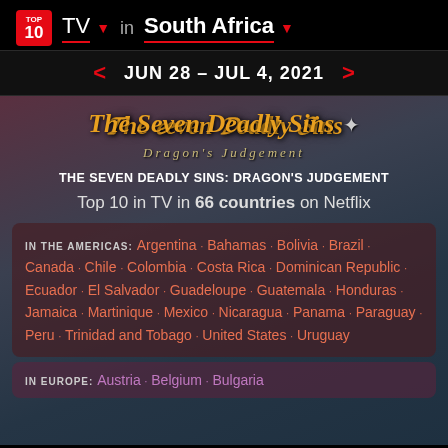TOP 10 | TV ▾ in South Africa ▾
JUN 28 - JUL 4, 2021
The Seven Deadly Sins: Dragon's Judgement
THE SEVEN DEADLY SINS: DRAGON'S JUDGEMENT
Top 10 in TV in 66 countries on Netflix
IN THE AMERICAS: Argentina · Bahamas · Bolivia · Brazil · Canada · Chile · Colombia · Costa Rica · Dominican Republic · Ecuador · El Salvador · Guadeloupe · Guatemala · Honduras · Jamaica · Martinique · Mexico · Nicaragua · Panama · Paraguay · Peru · Trinidad and Tobago · United States · Uruguay
IN EUROPE: Austria · Belgium · Bulgaria